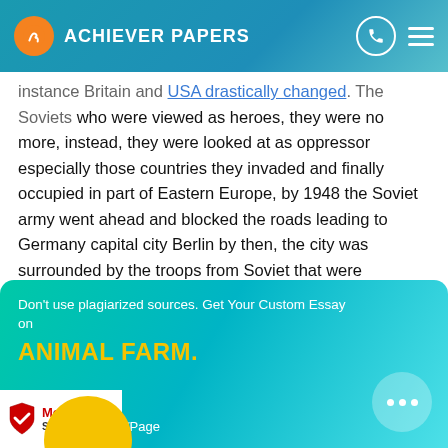ACHIEVER PAPERS
instance Britain and USA drastically changed. The Soviets who were viewed as heroes, they were no more, instead, they were looked at as oppressor especially those countries they invaded and finally occupied in part of Eastern Europe, by 1948 the Soviet army went ahead and blocked the roads leading to Germany capital city Berlin by then, the city was surrounded by the troops from Soviet that were controlling the East Germany. The city had no option but to divide into two, western under Allies as the Eastern part of Soviets, the supplies were flown by air and other necessities.
Don't use plagiarized sources. Get Your Custom Essay on
ANIMAL FARM.
/Page